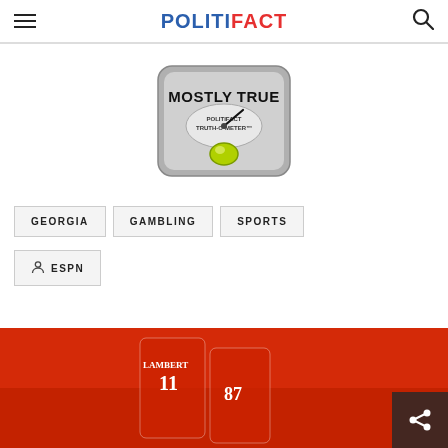POLITIFACT
[Figure (illustration): PolitiFact Truth-O-Meter gauge showing 'MOSTLY TRUE' rating with a green indicator light and needle pointing up-right]
GEORGIA
GAMBLING
SPORTS
ESPN
[Figure (photo): Football players in red Georgia Bulldogs uniforms, jersey numbers 11 (LAMBERT) and 87, celebrating in front of a packed red-clad crowd]